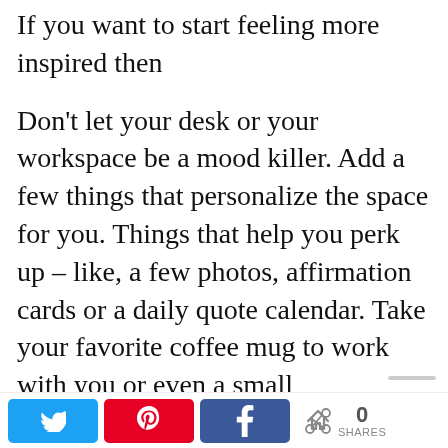If you want to start feeling more inspired then
Don't let your desk or your workspace be a mood killer. Add a few things that personalize the space for you. Things that help you perk up – like, a few photos, affirmation cards or a daily quote calendar. Take your favorite coffee mug to work with you or even a small